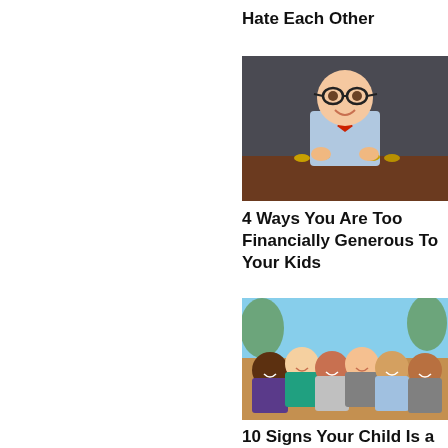Hate Each Other
[Figure (photo): Young boy dressed in a light blue shirt and red bow tie, wearing glasses, leaning forward on a table with coins in front, smiling at camera against a dark background.]
4 Ways You Are Too Financially Generous To Your Kids
[Figure (photo): Group of diverse happy children smiling and laughing together outdoors, leaning towards the camera.]
10 Signs Your Child Is a Brat and How to Deal